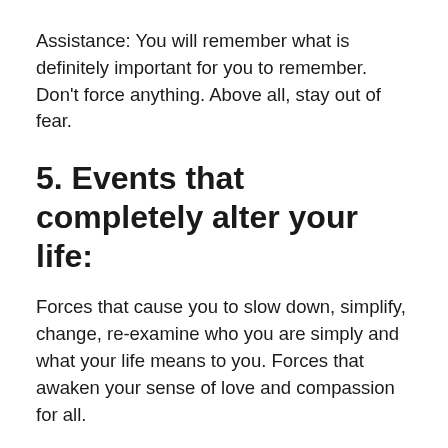Assistance: You will remember what is definitely important for you to remember. Don't force anything. Above all, stay out of fear.
5. Events that completely alter your life:
Forces that cause you to slow down, simplify, change, re-examine who you are simply and what your life means to you. Forces that awaken your sense of love and compassion for all.
6. Introspection, solitude and loss of interest in more extroverted activities: